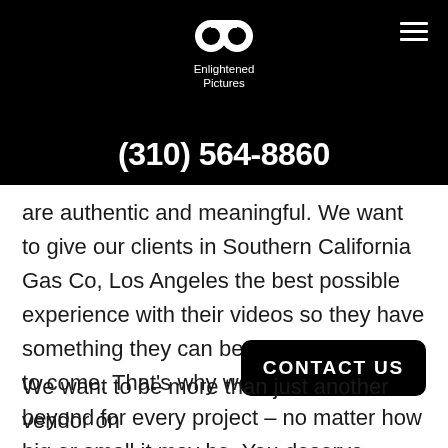[Figure (logo): Enlightened Pictures logo — stylized 'ep' in white on black background with company name below]
(310) 564-8860
are authentic and meaningful. We want to give our clients in Southern California Gas Co, Los Angeles the best possible experience with their videos so they have something they can be proud of for years to come. That's why we go above and beyond for every project – no matter how big or small it may be. You deserve nothing less than the best!
CONTACT US
We want to be more than just another vendor on